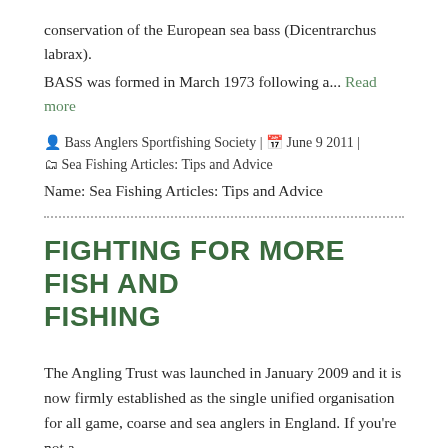conservation of the European sea bass (Dicentrarchus labrax).
BASS was formed in March 1973 following a... Read more
👤 Bass Anglers Sportfishing Society | 📅 June 9 2011 | 📁 Sea Fishing Articles: Tips and Advice
Name: Sea Fishing Articles: Tips and Advice
FIGHTING FOR MORE FISH AND FISHING
The Angling Trust was launched in January 2009 and it is now firmly established as the single unified organisation for all game, coarse and sea anglers in England. If you're not a